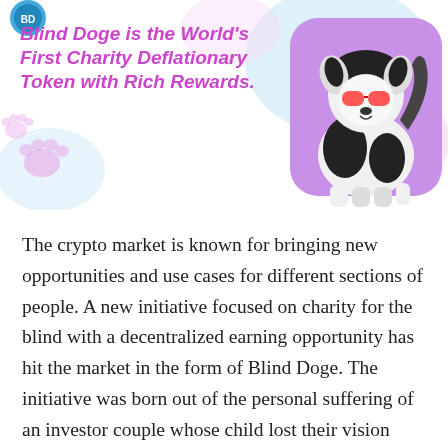[Figure (illustration): Banner area with colorful blob shapes in light blue and pink on white background. A cartoon illustration of a fluffy black-and-white dog wearing red sunglasses sits on a purple rounded rectangle on the right side. Decorative paw print shapes appear on the left. A small circular logo/icon appears in the top-left corner.]
Blind Doge is the World's First Charity Deflationary Token with Rich Rewards.
The crypto market is known for bringing new opportunities and use cases for different sections of people. A new initiative focused on charity for the blind with a decentralized earning opportunity has hit the market in the form of Blind Doge. The initiative was born out of the personal suffering of an investor couple whose child lost their vision over time due to illness making them realize the sufferings of a blind person. They teamed up with a set of developers to